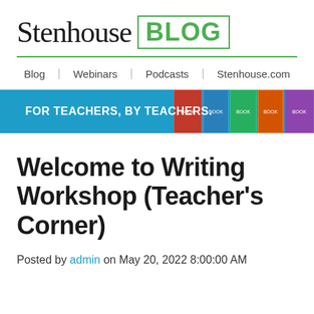[Figure (logo): Stenhouse Blog logo: 'Stenhouse' in serif font next to 'BLOG' in bold green sans-serif inside a green-bordered box, with a green underline below]
Blog | Webinars | Podcasts | Stenhouse.com
[Figure (infographic): Blue banner with white bold text 'FOR TEACHERS, BY TEACHERS.' and book cover images on the right side]
Welcome to Writing Workshop (Teacher's Corner)
Posted by admin on May 20, 2022 8:00:00 AM